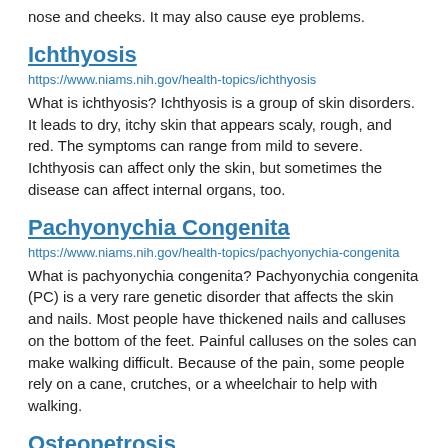nose and cheeks. It may also cause eye problems.
Ichthyosis
https://www.niams.nih.gov/health-topics/ichthyosis
What is ichthyosis? Ichthyosis is a group of skin disorders. It leads to dry, itchy skin that appears scaly, rough, and red. The symptoms can range from mild to severe. Ichthyosis can affect only the skin, but sometimes the disease can affect internal organs, too.
Pachyonychia Congenita
https://www.niams.nih.gov/health-topics/pachyonychia-congenita
What is pachyonychia congenita? Pachyonychia congenita (PC) is a very rare genetic disorder that affects the skin and nails. Most people have thickened nails and calluses on the bottom of the feet. Painful calluses on the soles can make walking difficult. Because of the pain, some people rely on a cane, crutches, or a wheelchair to help with walking.
Osteopetrosis
https://www.niams.nih.gov/health-topics/osteopetrosis
What is osteopetrosis? Osteopetrosis is a rare disorder that causes bones to grow abnormally and become too dense. When this